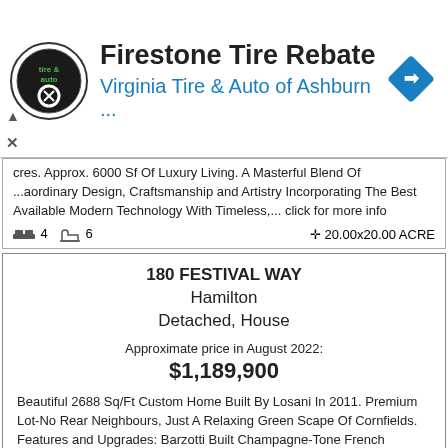[Figure (advertisement): Firestone Tire Rebate ad banner with Virginia Tire & Auto of Ashburn logo and navigation icon]
cres. Approx. 6000 Sf Of Luxury Living. A Masterful Blend Of ...aordinary Design, Craftsmanship and Artistry Incorporating The Best Available Modern Technology With Timeless,... click for more info
4 beds  6 baths  ✛ 20.00x20.00 ACRE
180 FESTIVAL WAY
Hamilton
Detached, House
Approximate price in August 2022:
$1,189,900
Beautiful 2688 Sq/Ft Custom Home Built By Losani In 2011. Premium Lot-No Rear Neighbours, Just A Relaxing Green Scape Of Cornfields. Features and Upgrades: Barzotti Built Champagne-Tone French Country Kitchen W/Granite Counters, Ss Appliances and Hood... click for more info
6 beds  3 baths  ✛ 45.93 x 105.97 FT
409 CATHARINE STREET N
Hamilton
Detached, House
Approximate price in August 2022:
$899,000